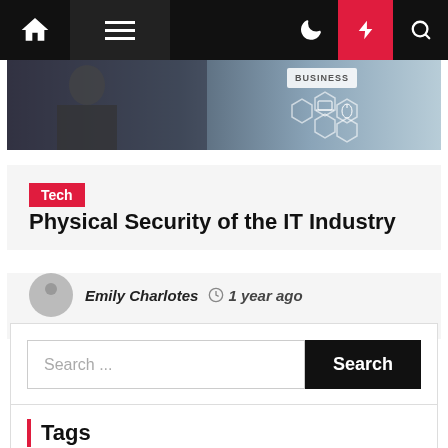[Figure (screenshot): Website navigation bar with home icon, hamburger menu, dark background, moon/bolt/search icons on right side with red bolt button]
[Figure (photo): Hero image of person in dark clothing interacting with digital business technology interface with hexagon icons and BUSINESS badge]
Tech
Physical Security of the IT Industry
Emily Charlotes  1 year ago
Search ...
Tags